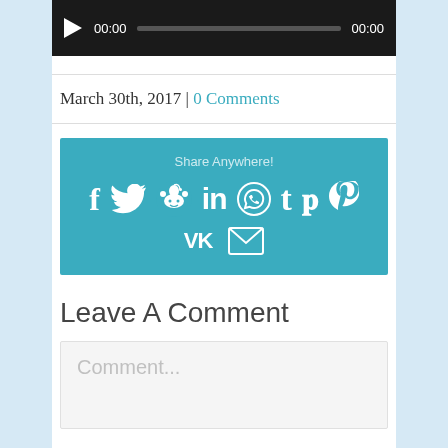[Figure (screenshot): Audio player bar with play button, timestamp 00:00, progress bar, and end time 00:00 on dark background]
March 30th, 2017 | 0 Comments
[Figure (infographic): Share Anywhere! social share widget with icons for Facebook, Twitter, Reddit, LinkedIn, WhatsApp, Tumblr, Pinterest, VK, and Email on a teal background]
Leave A Comment
Comment...